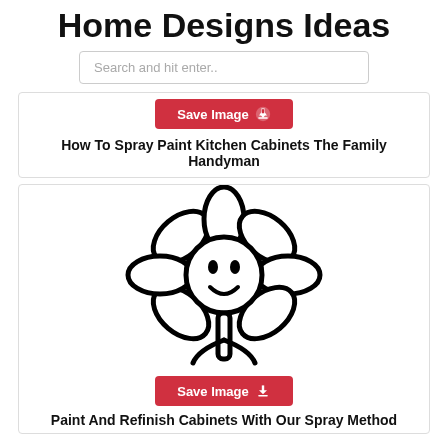Home Designs Ideas
Search and hit enter..
Save Image
How To Spray Paint Kitchen Cabinets The Family Handyman
[Figure (illustration): A simple black and white line drawing of a cartoon flower with a smiley face in the center. The flower has 5-6 rounded petals and a stem.]
Save Image
Paint And Refinish Cabinets With Our Spray Method